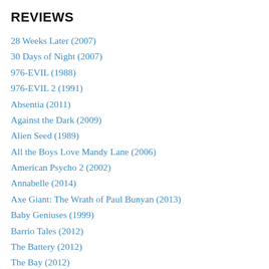REVIEWS
28 Weeks Later (2007)
30 Days of Night (2007)
976-EVIL (1988)
976-EVIL 2 (1991)
Absentia (2011)
Against the Dark (2009)
Alien Seed (1989)
All the Boys Love Mandy Lane (2006)
American Psycho 2 (2002)
Annabelle (2014)
Axe Giant: The Wrath of Paul Bunyan (2013)
Baby Geniuses (1999)
Barrio Tales (2012)
The Battery (2012)
The Bay (2012)
Behind the Mask: The Rise of Leslie Vernon (2006)
Berberian Sound Studio (2012)
Big Bad Wolf (2006)